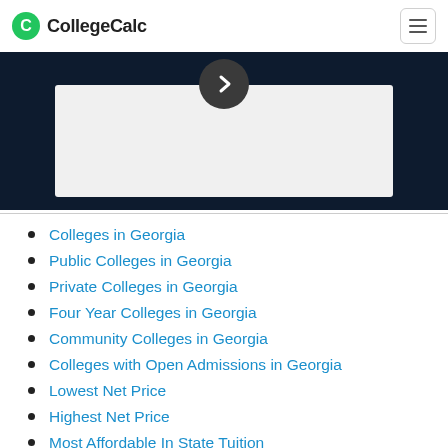CollegeCalc
[Figure (screenshot): Dark navy background with a light gray inner panel and a dark circular play/next button with a right-pointing chevron arrow at the top center of the panel.]
Colleges in Georgia
Public Colleges in Georgia
Private Colleges in Georgia
Four Year Colleges in Georgia
Community Colleges in Georgia
Colleges with Open Admissions in Georgia
Lowest Net Price
Highest Net Price
Most Affordable In State Tuition
Most Affordable In State Total
Most Affordable Out of State Tuition
Most Affordable Out of State Total